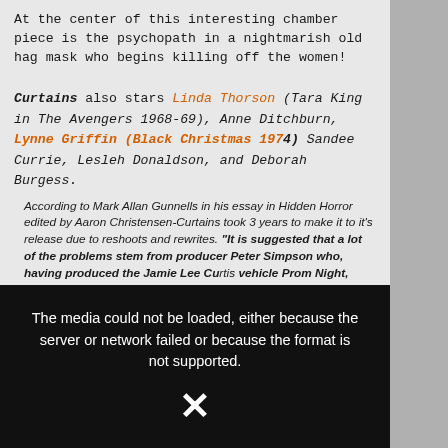At the center of this interesting chamber piece is the psychopath in a nightmarish old hag mask who begins killing off the women!
Curtains also stars Linda Thorson (Tara King in The Avengers 1968-69), Anne Ditchburn, Lynne Griffin (Black Christmas 1974) Sandee Currie, Lesleh Donaldson, and Deborah Burgess.
According to Mark Allan Gunnells in his essay in Hidden Horror edited by Aaron Christensen-Curtains took 3 years to make it to it's release due to reshoots and rewrites. "It is suggested that a lot of the problems stem from producer Peter Simpson who, having produced the Jamie Lee Curtis vehicle Prom Night, wanted another straight forward horror flick. Director Richard Ciupka, on the other hand, chose to go against the established slasher grain, bringing more European sensibility to the production. The original screenplay even had a supernatural element, with a creature designed (but never used) by makeup legend Greg Cannom (...) As Gunnells points out about the films many chilling scenes, a few that stand out are a dream sequence with a creepy life size doll and the chase scene that involves a hiding place that winds up becoming a "deathtrap."
[Figure (screenshot): Video player showing error message: 'The media could not be loaded, either because the server or network failed or because the format is not supported.' with an X mark on a dark background.]